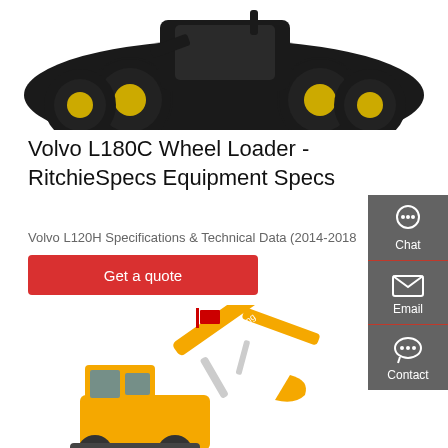[Figure (photo): Partial top view of a Volvo wheel loader (black with yellow rims), cropped showing only the wheels and lower body against white background]
Volvo L180C Wheel Loader - RitchieSpecs Equipment Specs
Volvo L120H Specifications & Technical Data (2014-2018
Get a quote
[Figure (photo): Yellow Sumyang wheeled excavator on white background, side view showing boom, arm, bucket, and cab with tracks/wheels]
[Figure (infographic): Dark grey sidebar with Chat (headset icon), Email (envelope icon), and Contact (speech bubble icon) white icon buttons with red dividers]